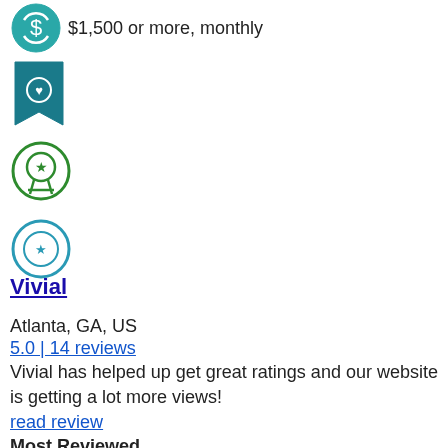[Figure (illustration): Small teal circular icon with dollar sign and arrows (reload/refresh money symbol)]
$1,500 or more, monthly
[Figure (illustration): Teal bookmark/badge icon with heart symbol]
[Figure (illustration): Green circular icon with award/ribbon and star]
[Figure (illustration): Teal/blue circular icon with shield and star]
[Figure (illustration): Dark circular icon with trophy cup]
[Figure (illustration): Orange circular icon with award badge/medal]
Vivial
Atlanta, GA, US
5.0 | 14 reviews
Vivial has helped up get great ratings and our website is getting a lot more views!
read review
Most Reviewed